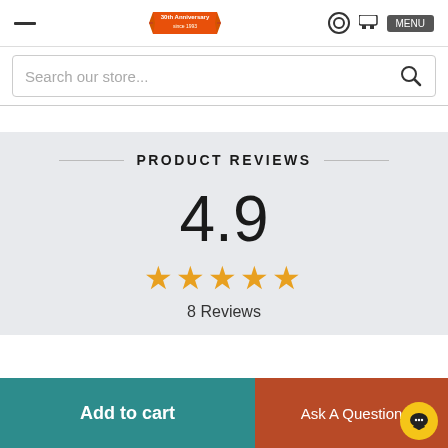[Figure (logo): Store 30th anniversary ribbon logo]
Search our store...
PRODUCT REVIEWS
4.9
★★★★★
8 Reviews
Add to cart
Ask A Question